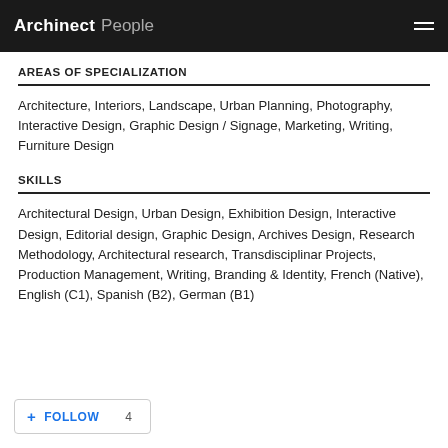Archinect People
AREAS OF SPECIALIZATION
Architecture, Interiors, Landscape, Urban Planning, Photography, Interactive Design, Graphic Design / Signage, Marketing, Writing, Furniture Design
SKILLS
Architectural Design, Urban Design, Exhibition Design, Interactive Design, Editorial design, Graphic Design, Archives Design, Research Methodology, Architectural research, Transdisciplinar Projects, Production Management, Writing, Branding & Identity, French (Native), English (C1), Spanish (B2), German (B1)
+ FOLLOW  4